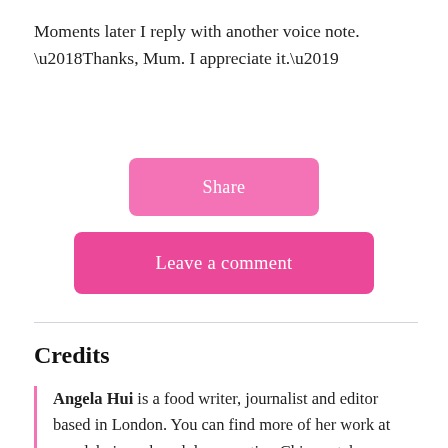Moments later I reply with another voice note. ‘Thanks, Mum. I appreciate it.’
[Figure (other): Pink rounded rectangle button labeled 'Share']
[Figure (other): Pink rounded rectangle button labeled 'Leave a comment']
Credits
Angela Hui is a food writer, journalist and editor based in London. You can find more of her work at angelahui.co.uk and documenting Chinese takeaways in the UK on Instagram.